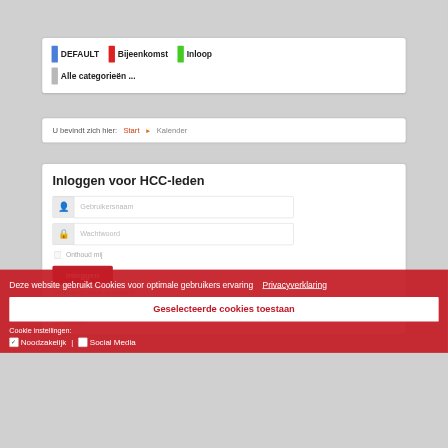DEFAULT  Bijeenkomst  Inloop
Alle categorieën ...
U bevindt zich hier:  Start  ▶  Kalender
Inloggen voor HCC-leden
Gebruikersnaam (input field)
Wachtwoord (input field)
Onthoud mij
Inloggen (button)
Gebruikersnaam vergeten?
Wachtwoord vergeten?
Nog geen HCC-account?
Lid worden
Deze website gebruikt Cookies voor optimale gebruikers ervaring    Privacyverklaring
Geselecteerde cookies toestaan
Cookie instellingen:
✓ Noodzakelijk | □ Social Media